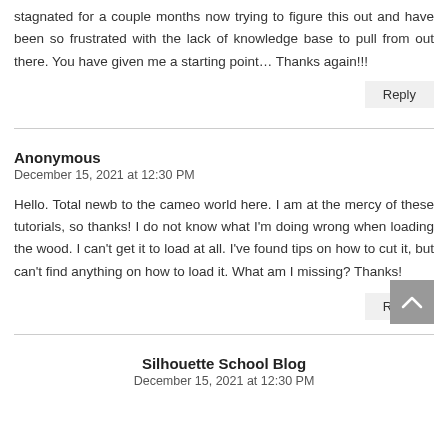stagnated for a couple months now trying to figure this out and have been so frustrated with the lack of knowledge base to pull from out there. You have given me a starting point... Thanks again!!!
Reply
Anonymous
December 15, 2021 at 12:30 PM
Hello. Total newb to the cameo world here. I am at the mercy of these tutorials, so thanks! I do not know what I'm doing wrong when loading the wood. I can't get it to load at all. I've found tips on how to cut it, but can't find anything on how to load it. What am I missing? Thanks!
Reply
Silhouette School Blog
December 15, 2021 at 12:30 PM